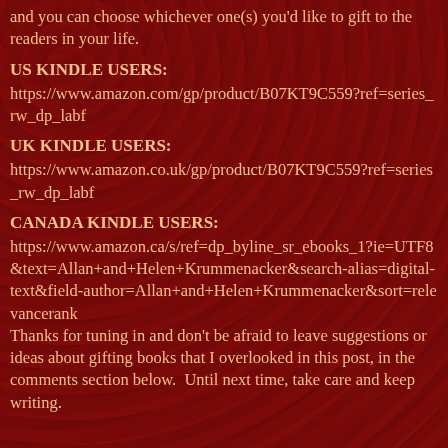and you can choose whichever one(s) you'd like to gift to the readers in your life.
US KINDLE USERS:
https://www.amazon.com/gp/product/B07KT9C559?ref=series_rw_dp_labf
UK KINDLE USERS:
https://www.amazon.co.uk/gp/product/B07KT9C559?ref=series_rw_dp_labf
CANADA KINDLE USERS:
https://www.amazon.ca/s/ref=dp_byline_sr_ebooks_1?ie=UTF8&text=Allan+and+Helen+Krummenacker&search-alias=digital-text&field-author=Allan+and+Helen+Krummenacker&sort=relevancerank
Thanks for tuning in and don't be afraid to leave suggestions or ideas about gifting books that I overlooked in this post, in the comments section below.  Until next time, take care and keep writing.